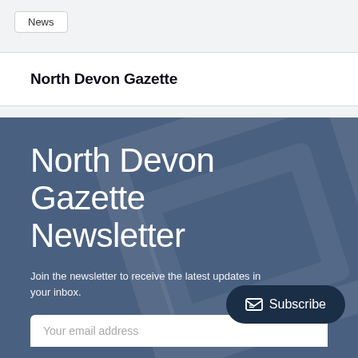News
North Devon Gazette
North Devon Gazette Newsletter
Join the newsletter to receive the latest updates in your inbox.
Subscribe
Your email address